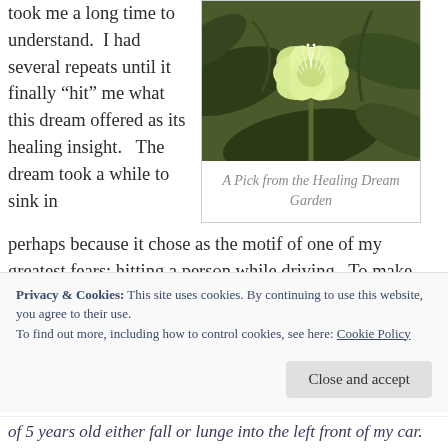took me a long time to understand.  I had several repeats until it finally “hit” me what this dream offered as its healing insight.   The dream took a while to sink in
[Figure (photo): Close-up photograph of a pale yellow-green flower with feathery white stamens, surrounded by dark green leaves.]
A Pick from the Healing Dream Garden
perhaps because it chose as the motif of one of my greatest fears: hitting a person while driving.  To make things worse, in the dream the feeling of hitting a person was so realistic—as if it really did happen.
Privacy & Cookies: This site uses cookies. By continuing to use this website, you agree to their use.
To find out more, including how to control cookies, see here: Cookie Policy
of 5 years old either fall or lunge into the left front of my car.